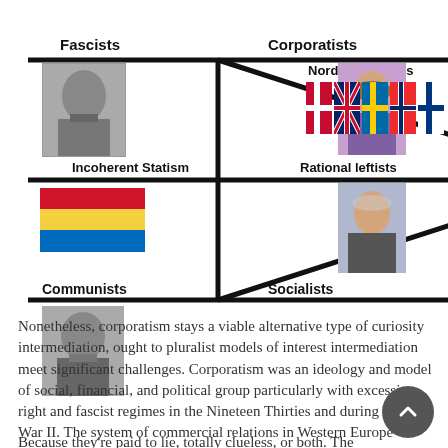[Figure (infographic): Ideological diagram with diagonal lines forming a V shape pointing right. Labels: Fascists (top-left), Corporatists (top-center), Nordic Countries (top-right), Incoherent Statism (middle-left), Rational leftists (middle-right), Communists (bottom-left), Socialists (bottom-center). Each label accompanied by a representative photo or flag image.]
Nonetheless, corporatism stays a viable alternative type of curiosity intermediation, ought to pluralist models of interest intermediation meet significant challenges. Corporatism was an ideology and model of social, financial, and political group particularly with excessive-right and fascist regimes in the Nineteen Thirties and during World War II. The system of commercial relations in Western Europe between 1950 and 1975 was labeled as neo-corporatism. In the wake of the election in Britain, John Curtice explores Labour’s insurance policies on enterp
Because they’re paid to lie, totally clueless, or both. The